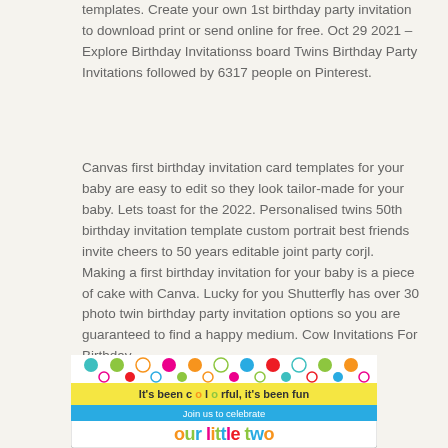templates. Create your own 1st birthday party invitation to download print or send online for free. Oct 29 2021 – Explore Birthday Invitationss board Twins Birthday Party Invitations followed by 6317 people on Pinterest.
Canvas first birthday invitation card templates for your baby are easy to edit so they look tailor-made for your baby. Lets toast for the 2022. Personalised twins 50th birthday invitation template custom portrait best friends invite cheers to 50 years editable joint party corjl. Making a first birthday invitation for your baby is a piece of cake with Canva. Lucky for you Shutterfly has over 30 photo twin birthday party invitation options so you are guaranteed to find a happy medium. Cow Invitations For Birthday.
[Figure (illustration): A colorful birthday party invitation card with polka dots at top. Yellow banner reads 'It's been colorful, it's been fun'. Teal/turquoise banner reads 'Join us to celebrate'. Large colorful text reads 'our little two'. Bottom shows partial photos.]